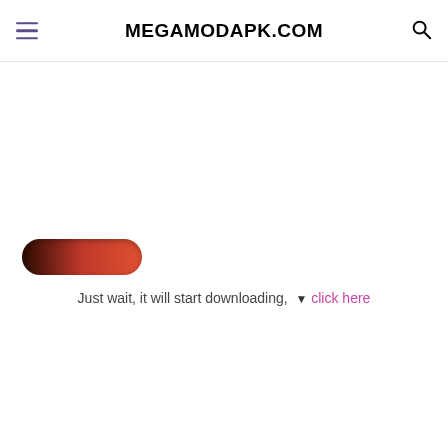MEGAMODAPK.COM
[Figure (other): A rounded pill-shaped button with a dark red to orange-red gradient fill, positioned in the lower-left area of the content region.]
Just wait, it will start downloading,  ▾ click here